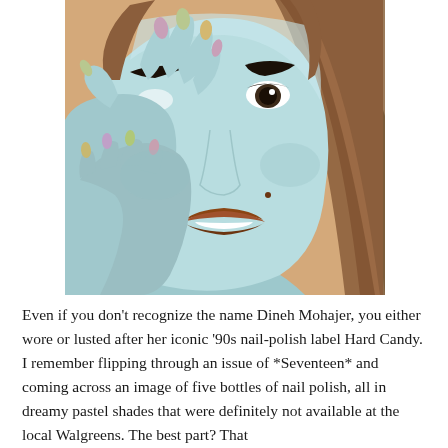[Figure (illustration): Illustrated portrait of a woman with light blue skin tone, brown hair, colorful pastel-painted fingernails (pink, yellow-green, lavender, gold), dark eyebrows, dark eye, beauty mark on cheek, and glossy lips. She holds her hands up near her face. Background is warm tan/peach color.]
Even if you don't recognize the name Dineh Mohajer, you either wore or lusted after her iconic '90s nail-polish label Hard Candy. I remember flipping through an issue of *Seventeen* and coming across an image of five bottles of nail polish, all in dreamy pastel shades that were definitely not available at the local Walgreens. The best part? That